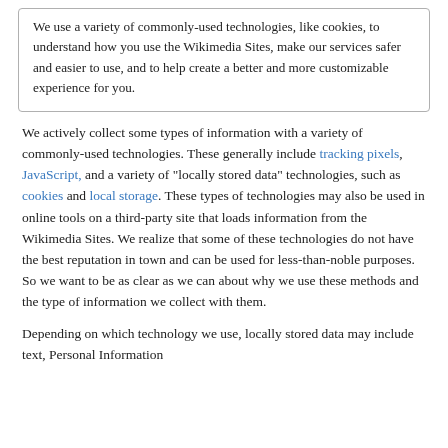We use a variety of commonly-used technologies, like cookies, to understand how you use the Wikimedia Sites, make our services safer and easier to use, and to help create a better and more customizable experience for you.
We actively collect some types of information with a variety of commonly-used technologies. These generally include tracking pixels, JavaScript, and a variety of "locally stored data" technologies, such as cookies and local storage. These types of technologies may also be used in online tools on a third-party site that loads information from the Wikimedia Sites. We realize that some of these technologies do not have the best reputation in town and can be used for less-than-noble purposes. So we want to be as clear as we can about why we use these methods and the type of information we collect with them.
Depending on which technology we use, locally stored data may include text, Personal Information